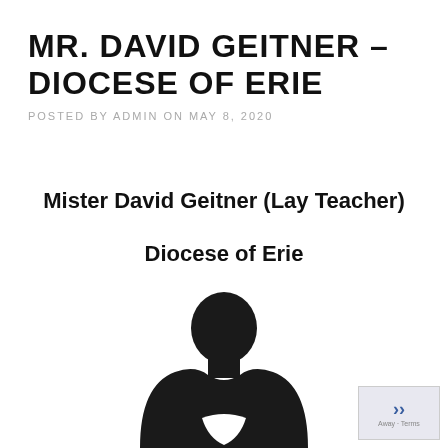MR. DAVID GEITNER – DIOCESE OF ERIE
POSTED BY ADMIN ON MAY 8, 2020
Mister David Geitner (Lay Teacher)
Diocese of Erie
[Figure (illustration): Silhouette of a person (placeholder profile image), black on white background]